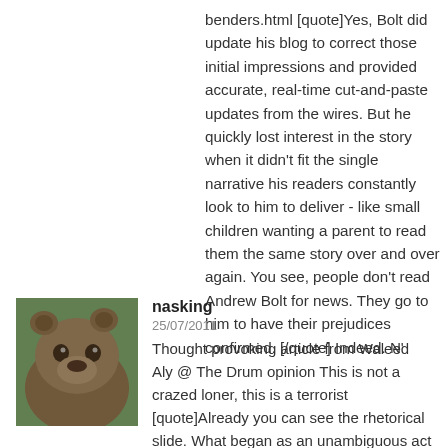benders.html [quote]Yes, Bolt did update his blog to correct those initial impressions and provided accurate, real-time cut-and-paste updates from the wires. But he quickly lost interest in the story when it didn't fit the single narrative his readers constantly look to him to deliver - like small children wanting a parent to read them the same story over and over again. You see, people don't read Andrew Bolt for news. They go to him to have their prejudices confirmed. [/quote] Indeed. N'
[Figure (photo): Avatar image of a brown bear (grizzly bear) used as a profile picture for user 'nasking']
nasking
25/07/2011
Thought provoking article from Waleed Aly @ The Drum opinion This is not a crazed loner, this is a terrorist [quote]Already you can see the rhetorical slide. What began as an unambiguous act of terrorism is slowly becoming the work of a "lone gunman". It's not, in the words of a Norwegian police official, "Islamic-terror related", so he must be